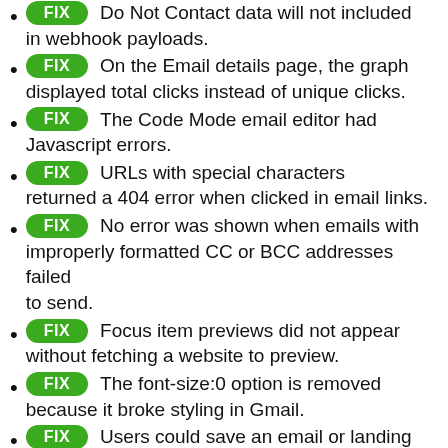FIX Do Not Contact data will not included in webhook payloads.
FIX On the Email details page, the graph displayed total clicks instead of unique clicks.
FIX The Code Mode email editor had Javascript errors.
FIX URLs with special characters returned a 404 error when clicked in email links.
FIX No error was shown when emails with improperly formatted CC or BCC addresses failed to send.
FIX Focus item previews did not appear without fetching a website to preview.
FIX The font-size:0 option is removed because it broke styling in Gmail.
FIX Users could save an email or landing page without selecting a language.
FIX Invalid HTML broke the Code Mode